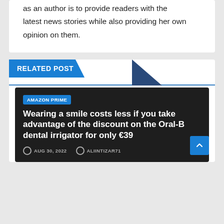as an author is to provide readers with the latest news stories while also providing her own opinion on them.
RELATED POST
AMAZON PRIME
Wearing a smile costs less if you take advantage of the discount on the Oral-B dental irrigator for only €39
AUG 30, 2022   ALIINTIZAR71